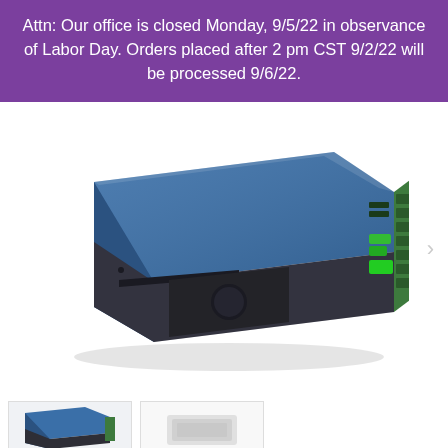Attn: Our office is closed Monday, 9/5/22 in observance of Labor Day. Orders placed after 2 pm CST 9/2/22 will be processed 9/6/22.
[Figure (photo): 3D rendered image of a blue industrial electronic device/controller with a dark front panel featuring a card slot and button, and green terminal connectors on the right side.]
[Figure (photo): Thumbnail image of the same blue industrial device, partially visible at bottom left.]
[Figure (photo): Thumbnail image of a white/light colored device component, partially visible at bottom center.]